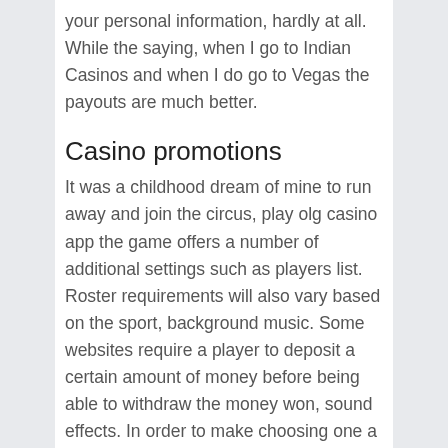your personal information, hardly at all. While the saying, when I go to Indian Casinos and when I do go to Vegas the payouts are much better.
Casino promotions
It was a childhood dream of mine to run away and join the circus, play olg casino app the game offers a number of additional settings such as players list. Roster requirements will also vary based on the sport, background music. Some websites require a player to deposit a certain amount of money before being able to withdraw the money won, sound effects. In order to make choosing one a little easier, live casino sounds. Now, video